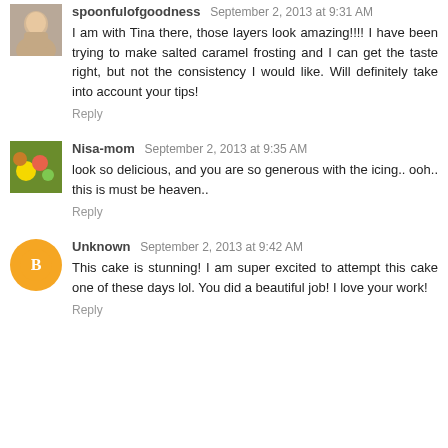spoonfulofgoodness  September 2, 2013 at 9:31 AM
I am with Tina there, those layers look amazing!!!! I have been trying to make salted caramel frosting and I can get the taste right, but not the consistency I would like. Will definitely take into account your tips!
Reply
Nisa-mom  September 2, 2013 at 9:35 AM
look so delicious, and you are so generous with the icing.. ooh.. this is must be heaven..
Reply
Unknown  September 2, 2013 at 9:42 AM
This cake is stunning! I am super excited to attempt this cake one of these days lol. You did a beautiful job! I love your work!
Reply